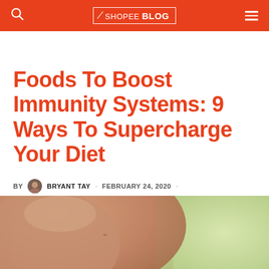SHOPEE BLOG
Foods To Boost Immunity Systems: 9 Ways To Supercharge Your Diet
BY BRYANT TAY · FEBRUARY 24, 2020 · FOOD & DRINKS
[Figure (photo): Close-up photo of human skin/torso with blurred green background]